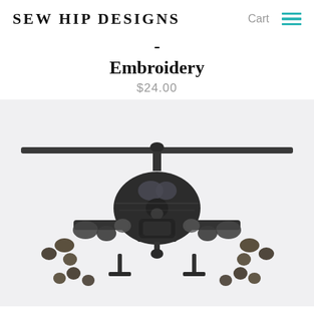SEW HIP DESIGNS   Cart ≡
- Embroidery
$24.00
[Figure (photo): Close-up photo of an embroidered military Apache helicopter on white fabric. The embroidery shows a detailed front-facing helicopter with rotor blades, cockpit, weapon systems on the wings, and landing gear, stitched in dark grey/black and dark olive threads.]